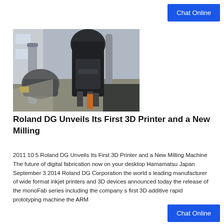Chat Online
[Figure (photo): Industrial milling machine equipment inside a factory building with large pipes and machinery visible]
Roland DG Unveils Its First 3D Printer and a New Milling
2011 10 5 Roland DG Unveils Its First 3D Printer and a New Milling Machine The future of digital fabrication now on your desktop Hamamatsu Japan September 3 2014 Roland DG Corporation the world s leading manufacturer of wide format inkjet printers and 3D devices announced today the release of the monoFab series including the company s first 3D additive rapid prototyping machine the ARM
Chat Online